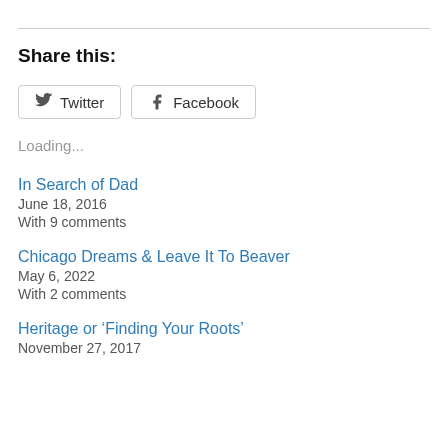Share this:
Twitter  Facebook
Loading...
In Search of Dad
June 18, 2016
With 9 comments
Chicago Dreams & Leave It To Beaver
May 6, 2022
With 2 comments
Heritage or ‘Finding Your Roots’
November 27, 2017